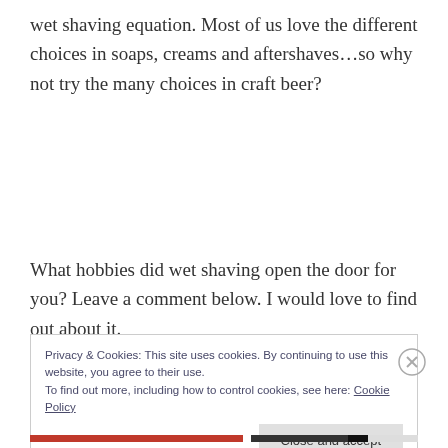wet shaving equation. Most of us love the different choices in soaps, creams and aftershaves…so why not try the many choices in craft beer?
What hobbies did wet shaving open the door for you? Leave a comment below. I would love to find out about it.
Privacy & Cookies: This site uses cookies. By continuing to use this website, you agree to their use.
To find out more, including how to control cookies, see here: Cookie Policy
Close and accept